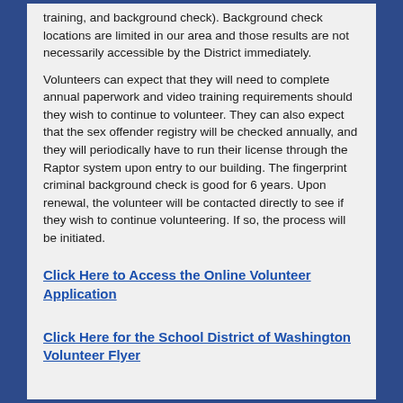training, and background check). Background check locations are limited in our area and those results are not necessarily accessible by the District immediately.
Volunteers can expect that they will need to complete annual paperwork and video training requirements should they wish to continue to volunteer. They can also expect that the sex offender registry will be checked annually, and they will periodically have to run their license through the Raptor system upon entry to our building. The fingerprint criminal background check is good for 6 years. Upon renewal, the volunteer will be contacted directly to see if they wish to continue volunteering. If so, the process will be initiated.
Click Here to Access the Online Volunteer Application
Click Here for the School District of Washington Volunteer Flyer